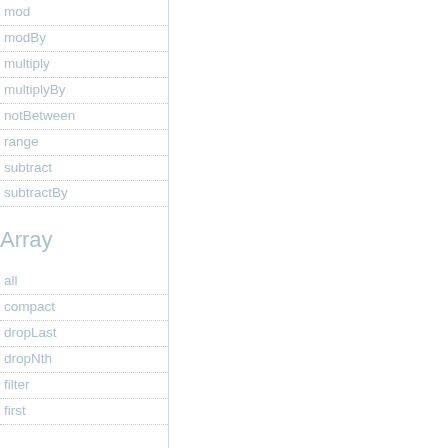mod
modBy
multiply
multiplyBy
notBetween
range
subtract
subtractBy
Array
all
compact
dropLast
dropNth
filter
first